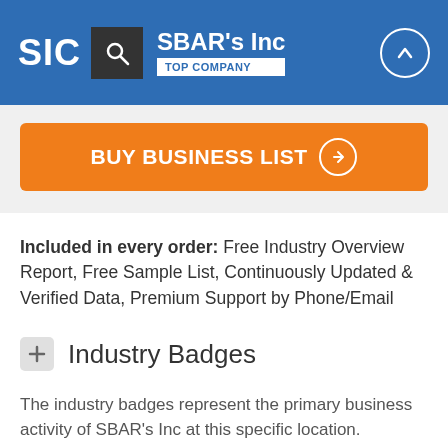SIC | SBAR's Inc | TOP COMPANY
[Figure (other): Orange BUY BUSINESS LIST button with right-arrow circle icon]
Included in every order: Free Industry Overview Report, Free Sample List, Continuously Updated & Verified Data, Premium Support by Phone/Email
Industry Badges
The industry badges represent the primary business activity of SBAR's Inc at this specific location.
[Figure (illustration): Partial blue and teal badge/shield logo at bottom of page]